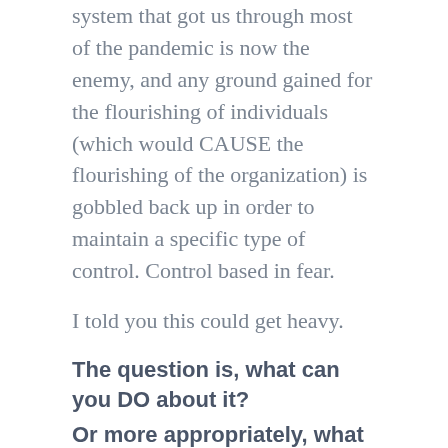system that got us through most of the pandemic is now the enemy, and any ground gained for the flourishing of individuals (which would CAUSE the flourishing of the organization) is gobbled back up in order to maintain a specific type of control. Control based in fear.
I told you this could get heavy.
The question is, what can you DO about it?
Or more appropriately, what can YOU do about you?
By now, you should expect me to tell you